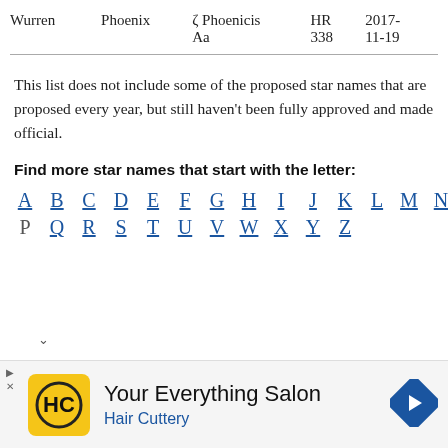| Wurren | Phoenix | ζ Phoenicis Aa | HR 338 | 2017-11-19 |
| --- | --- | --- | --- | --- |
This list does not include some of the proposed star names that are proposed every year, but still haven't been fully approved and made official.
Find more star names that start with the letter:
A B C D E F G H I J K L M N O P Q R S T U V W X Y Z
[Figure (other): Advertisement for Hair Cuttery: Your Everything Salon with logo and navigation arrow icon]